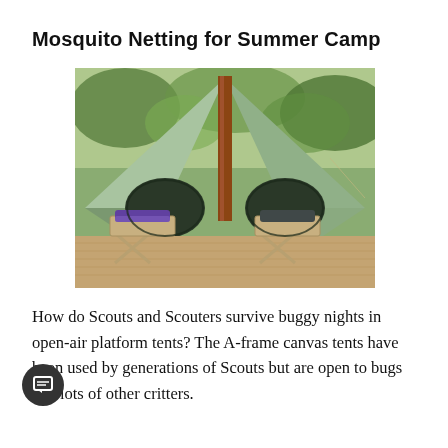Mosquito Netting for Summer Camp
[Figure (photo): An A-frame canvas tent open at the front, showing two folding cots with sleeping gear inside, set on a wooden platform deck surrounded by trees.]
How do Scouts and Scouters survive buggy nights in open-air platform tents? The A-frame canvas tents have been used by generations of Scouts but are open to bugs and lots of other critters.